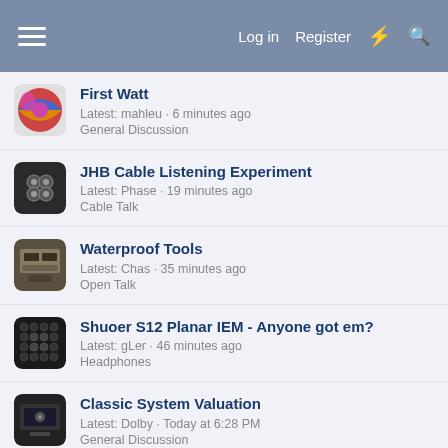Log in  Register
First Watt
Latest: mahleu · 6 minutes ago
General Discussion
JHB Cable Listening Experiment
Latest: Phase · 19 minutes ago
Cable Talk
Waterproof Tools
Latest: Chas · 35 minutes ago
Open Talk
Shuoer S12 Planar IEM - Anyone got em?
Latest: gLer · 46 minutes ago
Headphones
Classic System Valuation
Latest: Dolby · Today at 6:28 PM
General Discussion
M&K Subwoofer Reintroduced Into Market? vs Value
Latest: keithn · Today at 5:55 PM